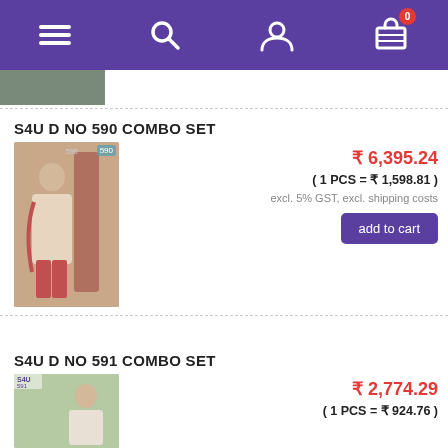Navigation bar with menu, search, account, and cart (0 items) icons
S4U D NO 590 COMBO SET
[Figure (photo): Product photo of S4U D No 590 combo set — woman wearing a floral printed kurta with dupatta and red pants, standing near a stone pillar outdoors. Label '590' visible.]
₹ 6,395.24
( 1 PCS = ₹ 1,598.81 )
excl. 5% GST, excl. shipping costs
add to cart
S4U D NO 591 COMBO SET
[Figure (photo): Product photo of S4U D No 591 combo set — woman in a light-colored outfit, S4U 591 label visible.]
₹ 2,774.29
( 1 PCS = ₹ 924.76 )